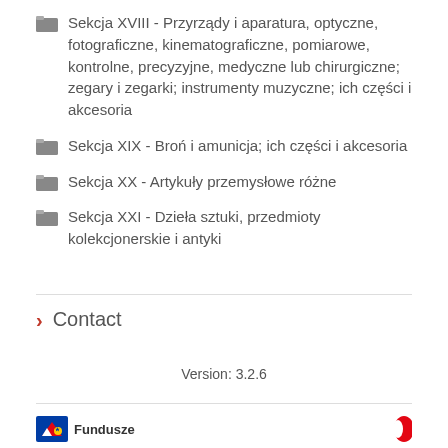Sekcja XVIII - Przyrządy i aparatura, optyczne, fotograficzne, kinematograficzne, pomiarowe, kontrolne, precyzyjne, medyczne lub chirurgiczne; zegary i zegarki; instrumenty muzyczne; ich części i akcesoria
Sekcja XIX - Broń i amunicja; ich części i akcesoria
Sekcja XX - Artykuły przemysłowe różne
Sekcja XXI - Dzieła sztuki, przedmioty kolekcjonerskie i antyki
Contact
Version: 3.2.6
Fundusze [logo]